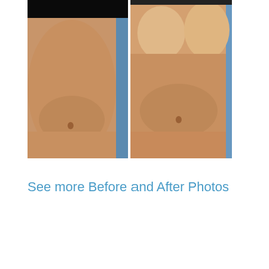[Figure (photo): Before and after medical photos showing torso/abdominal area. Left photo shows pre-procedure state with black privacy bar at top. Right photo shows post-procedure result with visible breast augmentation. Both images have blue background with skin-toned torso visible.]
See more Before and After Photos